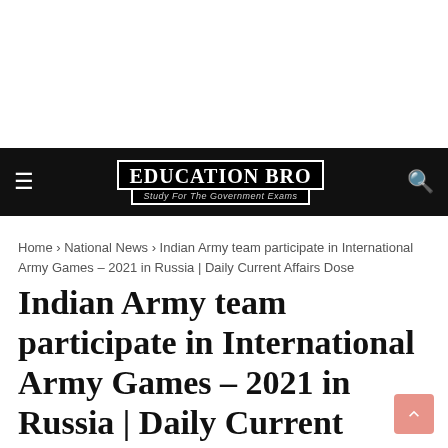Education Bro — Study For The Government Exams
Home › National News › Indian Army team participate in International Army Games – 2021 in Russia | Daily Current Affairs Dose
Indian Army team participate in International Army Games – 2021 in Russia | Daily Current Affairs Dose
EducationBro  August 10, 2021